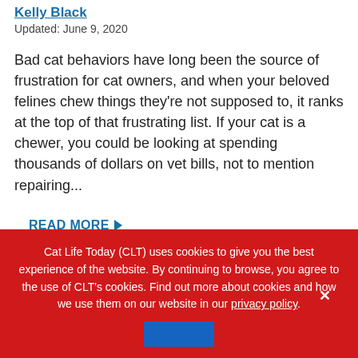Kelly Black
Updated: June 9, 2020
Bad cat behaviors have long been the source of frustration for cat owners, and when your beloved felines chew things they're not supposed to, it ranks at the top of that frustrating list. If your cat is a chewer, you could be looking at spending thousands of dollars on vet bills, not to mention repairing...
READ MORE
Cat Life Today (CLT) uses cookies to give you the best experience of the website. By continuing to browse, you agree to the use of CLT's cookies. Find out more about cookies and how we use them on our website in our privacy policy.